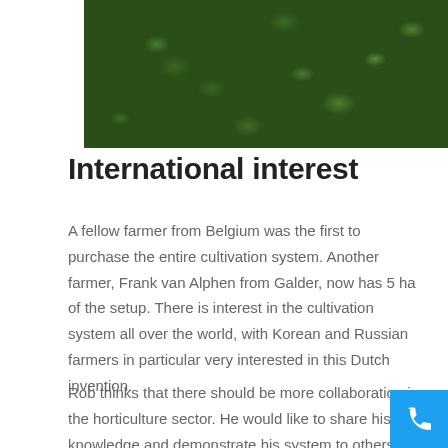[Figure (photo): Close-up photo of dense green foliage/leaves against a dark background]
International interest
A fellow farmer from Belgium was the first to purchase the entire cultivation system. Another farmer, Frank van Alphen from Galder, now has 5 ha of the setup. There is interest in the cultivation system all over the world, with Korean and Russian farmers in particular very interested in this Dutch invention.
Rob thinks that there should be more collaboration in the horticulture sector. He would like to share his knowledge and demonstrate his system to others to inspire them.